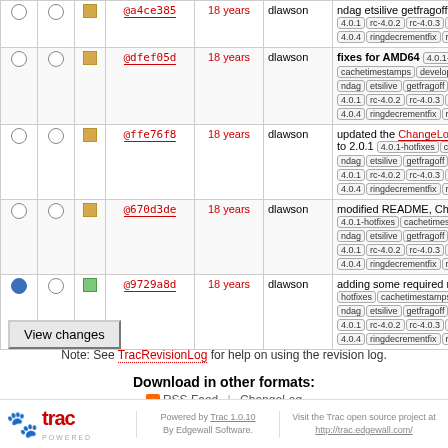|  |  |  | Rev | Age | Author | Log Message |
| --- | --- | --- | --- | --- | --- | --- |
| ○ | ○ | ■ | @a4ce385 | 18 years | dlawson | ndag etsilive getfragoff help libtr 4.0.1 rc-4.0.2 rc-4.0.3 rc-4.0.4 ringdecrementfix ringperforma |
| ○ | ○ | ■ | @dfef05d | 18 years | dlawson | fixes for AMD64 4.0.1-hotfixes cachetimestamps develop ndag etsilive getfragoff help libtr 4.0.1 rc-4.0.2 rc-4.0.3 rc-4.0.4 ringdecrementfix ringperforma |
| ○ | ○ | ■ | @ffe76f8 | 18 years | dlawson | updated the ChangeLog, NEWS to 2.0.1 4.0.1-hotfixes cachetimes ndag etsilive getfragoff help libtr 4.0.1 rc-4.0.2 rc-4.0.3 rc-4.0.4 ringdecrementfix ringperforma |
| ○ | ○ | ■ | @670d3de | 18 years | dlawson | modified README, Changlog, a 4.0.1-hotfixes cachetimestamps de ndag etsilive getfragoff help libtr 4.0.1 rc-4.0.2 rc-4.0.3 rc-4.0.4 ringdecrementfix ringperforma |
| ● | ○ | ■ | @9729a8d | 18 years | dlawson | adding some required misc files hotfixes cachetimestamps develop ndag etsilive getfragoff help libtr 4.0.1 rc-4.0.2 rc-4.0.3 rc-4.0.4 ringdecrementfix ringperforma |
View changes
Note: See TracRevisionLog for help on using the revision log.
Download in other formats: RSS Feed | ChangeLog
Powered by Trac 1.0.10 By Edgewall Software. Visit the Trac open source project at http://trac.edgewall.com/